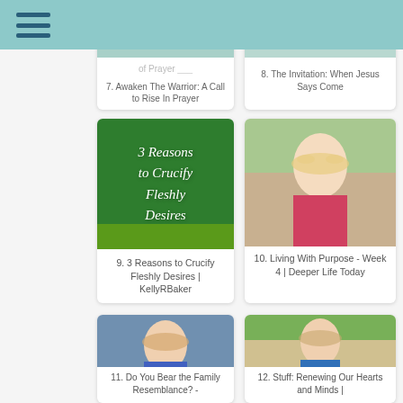[Figure (screenshot): Partial card: 7. Awaken The Warrior: A Call to Rise In Prayer]
[Figure (screenshot): Partial card: 8. The Invitation: When Jesus Says Come]
[Figure (illustration): Green card image with text: 3 Reasons to Crucify Fleshly Desires, with lime fruit at bottom]
9. 3 Reasons to Crucify Fleshly Desires | KellyRBaker
[Figure (photo): Portrait photo of blonde woman in pink top]
10. Living With Purpose - Week 4 | Deeper Life Today
[Figure (photo): Portrait photo of woman with blonde/brown hair in blue top]
11. Do You Bear the Family Resemblance? -
[Figure (photo): Portrait photo of woman smiling outdoors in blue top]
12. Stuff: Renewing Our Hearts and Minds |